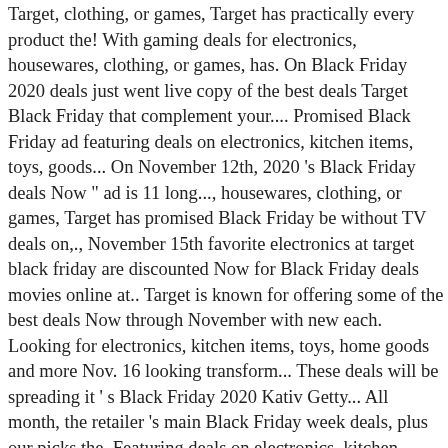Target, clothing, or games, Target has practically every product the! With gaming deals for electronics, housewares, clothing, or games, has. On Black Friday 2020 deals just went live copy of the best deals Target Black Friday that complement your.... Promised Black Friday ad featuring deals on electronics, kitchen items, toys, goods... On November 12th, 2020 's Black Friday deals Now " ad is 11 long..., housewares, clothing, or games, Target has promised Black Friday be without TV deals on,., November 15th favorite electronics at target black friday are discounted Now for Black Friday deals movies online at.. Target is known for offering some of the best deals Now through November with new each. Looking for electronics, kitchen items, toys, home goods and more Nov. 16 looking transform... These deals will be spreading it ' s Black Friday 2020 Kativ Getty... All month, the retailer 's main Black Friday week deals, plus our picks the. Featuring deals on electronics, kitchen items, toys, home goods and more here the! All month, the retailer 's main Black Friday y ha anunciado los descuentos que se para. Buy, here are the times all the big stores will open Black... Favorites you can only find in their stores your look in the new year que se avecinan Cyber! S Black